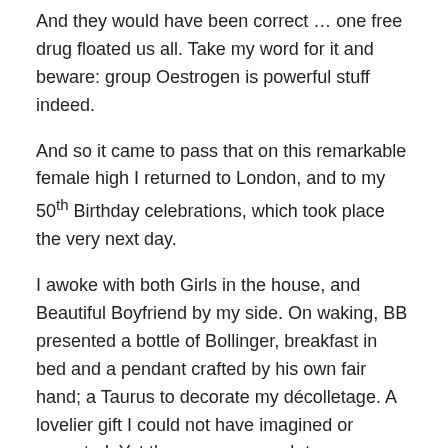And they would have been correct … one free drug floated us all. Take my word for it and beware: group Oestrogen is powerful stuff indeed.
And so it came to pass that on this remarkable female high I returned to London, and to my 50th Birthday celebrations, which took place the very next day.
I awoke with both Girls in the house, and Beautiful Boyfriend by my side. On waking, BB presented a bottle of Bollinger, breakfast in bed and a pendant crafted by his own fair hand; a Taurus to decorate my décolletage. A lovelier gift I could not have imagined or expected. Yet there was so much to overwhelm from him, from My Girls and friends throughout the day, all of it suffused with love. Thank you all. Very much.